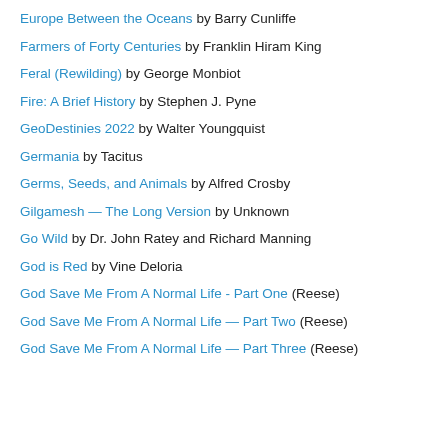Europe Between the Oceans by Barry Cunliffe
Farmers of Forty Centuries by Franklin Hiram King
Feral (Rewilding) by George Monbiot
Fire: A Brief History by Stephen J. Pyne
GeoDestinies 2022 by Walter Youngquist
Germania by Tacitus
Germs, Seeds, and Animals by Alfred Crosby
Gilgamesh — The Long Version by Unknown
Go Wild by Dr. John Ratey and Richard Manning
God is Red by Vine Deloria
God Save Me From A Normal Life - Part One (Reese)
God Save Me From A Normal Life — Part Two (Reese)
God Save Me From A Normal Life — Part Three (Reese)